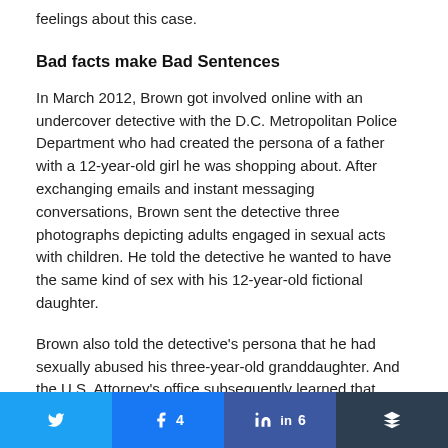feelings about this case.
Bad facts make Bad Sentences
In March 2012, Brown got involved online with an undercover detective with the D.C. Metropolitan Police Department who had created the persona of a father with a 12-year-old girl he was shopping about. After exchanging emails and instant messaging conversations, Brown sent the detective three photographs depicting adults engaged in sexual acts with children. He told the detective he wanted to have the same kind of sex with his 12-year-old fictional daughter.
Brown also told the detective's persona that he had sexually abused his three-year-old granddaughter. And the U.S. Attorney's office subsequently learned that Brown had also sexually abused his own daughter when she was also three